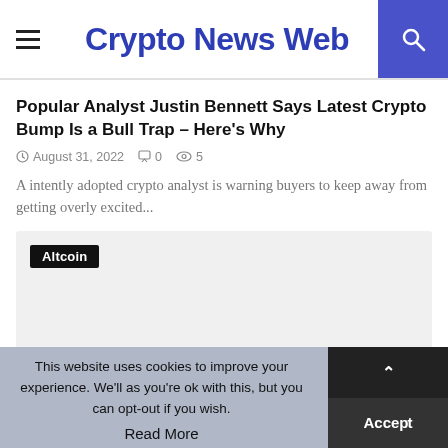Crypto News Web
Popular Analyst Justin Bennett Says Latest Crypto Bump Is a Bull Trap – Here's Why
August 31, 2022   0   5
A intently adopted crypto analyst is warning buyers to keep away from getting overly excited...
[Figure (other): Thumbnail image placeholder with dark 'Altcoin' badge label in top-left corner]
This website uses cookies to improve your experience. We'll as you're ok with this, but you can opt-out if you wish.   Accept   Read More